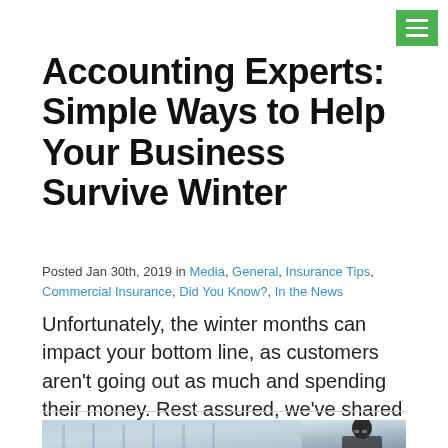Accounting Experts: Simple Ways to Help Your Business Survive Winter
Posted Jan 30th, 2019 in Media, General, Insurance Tips, Commercial Insurance, Did You Know?, In the News
Unfortunately, the winter months can impact your bottom line, as customers aren’t going out as much and spending their money. Rest assured, we’ve shared ways to ensure your business survives the winter lull.
[Figure (photo): Person wearing glasses in a store/warehouse setting, viewed from the side]